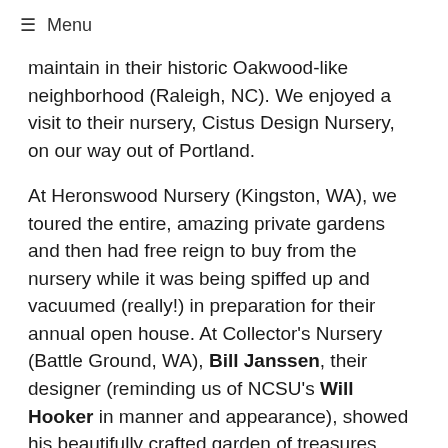≡ Menu
maintain in their historic Oakwood-like neighborhood (Raleigh, NC). We enjoyed a visit to their nursery, Cistus Design Nursery, on our way out of Portland.
At Heronswood Nursery (Kingston, WA), we toured the entire, amazing private gardens and then had free reign to buy from the nursery while it was being spiffed up and vacuumed (really!) in preparation for their annual open house. At Collector's Nursery (Battle Ground, WA), Bill Janssen, their designer (reminding us of NCSU's Will Hooker in manner and appearance), showed his beautifully crafted garden of treasures around their home; while Diana Reeck, back from multiple trips to collect Epimediums in China, staffed the nursery. Their garden was an artistic jewel, holding, for example, a beautiful specimen of Daphne ×burkwoodii 'Briggs Moonlight', a ghostly pale apparition with green edges, the reverse of Daphne